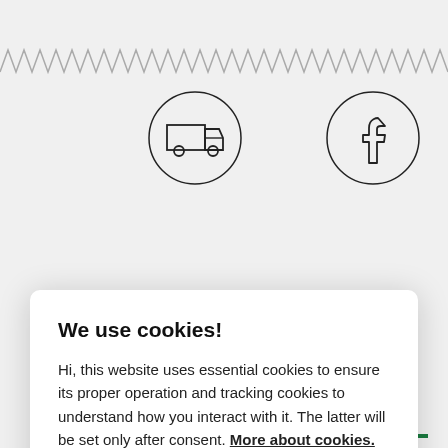[Figure (illustration): Zigzag/wavy decorative border pattern in gray across the top of the page]
[Figure (illustration): Circular icon with a delivery truck outline inside]
[Figure (illustration): Circular icon with a Facebook 'f' logo inside]
We use cookies!
Hi, this website uses essential cookies to ensure its proper operation and tracking cookies to understand how you interact with it. The latter will be set only after consent. More about cookies.
Accept all
Preferences